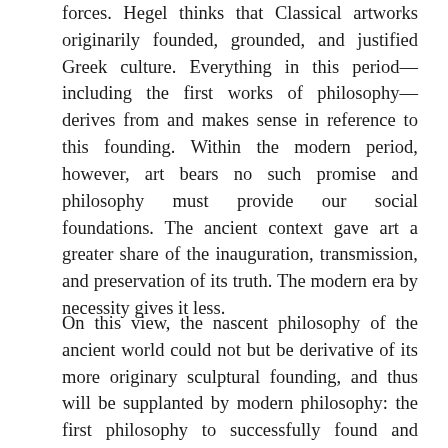forces. Hegel thinks that Classical artworks originarily founded, grounded, and justified Greek culture. Everything in this period—including the first works of philosophy— derives from and makes sense in reference to this founding. Within the modern period, however, art bears no such promise and philosophy must provide our social foundations. The ancient context gave art a greater share of the inauguration, transmission, and preservation of its truth. The modern era by necessity gives it less.
On this view, the nascent philosophy of the ancient world could not but be derivative of its more originary sculptural founding, and thus will be supplanted by modern philosophy: the first philosophy to successfully found and ground a world-historical epoch. Hegel argues that modernity is, in essence, a revaluation, whereby philosophy